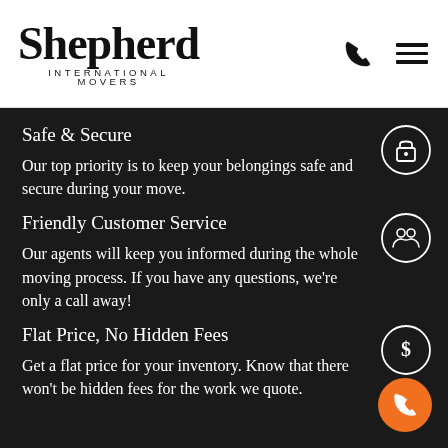Shepherd International Movers
Safe & Secure
Our top priority is to keep your belongings safe and secure during your move.
Friendly Customer Service
Our agents will keep you informed during the whole moving process. If you have any questions, we're only a call away!
Flat Price, No Hidden Fees
Get a flat price for your inventory. Know that there won't be hidden fees for the work we quote.